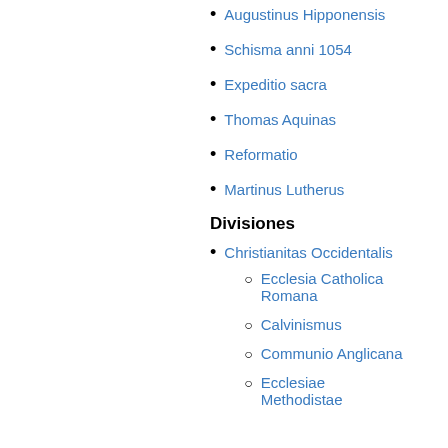Augustinus Hipponensis
Schisma anni 1054
Expeditio sacra
Thomas Aquinas
Reformatio
Martinus Lutherus
Divisiones
Christianitas Occidentalis
Ecclesia Catholica Romana
Calvinismus
Communio Anglicana
Ecclesiae Methodistae